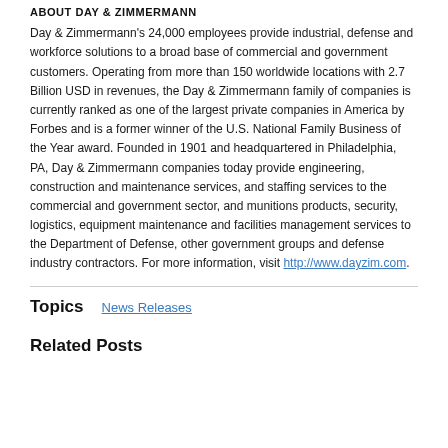ABOUT DAY & ZIMMERMANN
Day & Zimmermann's 24,000 employees provide industrial, defense and workforce solutions to a broad base of commercial and government customers. Operating from more than 150 worldwide locations with 2.7 Billion USD in revenues, the Day & Zimmermann family of companies is currently ranked as one of the largest private companies in America by Forbes and is a former winner of the U.S. National Family Business of the Year award. Founded in 1901 and headquartered in Philadelphia, PA, Day & Zimmermann companies today provide engineering, construction and maintenance services, and staffing services to the commercial and government sector, and munitions products, security, logistics, equipment maintenance and facilities management services to the Department of Defense, other government groups and defense industry contractors. For more information, visit http://www.dayzim.com.
Topics
News Releases
Related Posts